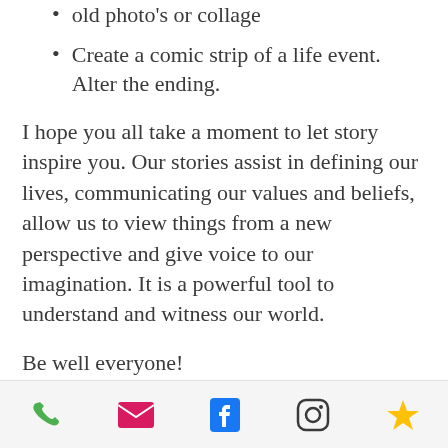old photo's or collage
Create a comic strip of a life event. Alter the ending.
I hope you all take a moment to let story inspire you. Our stories assist in defining our lives, communicating our values and beliefs, allow us to view things from a new perspective and give voice to our imagination. It is a powerful tool to understand and witness our world.
Be well everyone!
#storytelling #creativeinterventions #powerofstory #creativetherapy #healing
phone | email | facebook | instagram | star